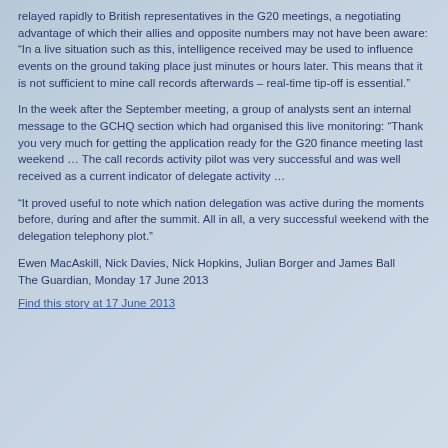relayed rapidly to British representatives in the G20 meetings, a negotiating advantage of which their allies and opposite numbers may not have been aware: “In a live situation such as this, intelligence received may be used to influence events on the ground taking place just minutes or hours later. This means that it is not sufficient to mine call records afterwards – real-time tip-off is essential.”
In the week after the September meeting, a group of analysts sent an internal message to the GCHQ section which had organised this live monitoring: “Thank you very much for getting the application ready for the G20 finance meeting last weekend … The call records activity pilot was very successful and was well received as a current indicator of delegate activity …
“It proved useful to note which nation delegation was active during the moments before, during and after the summit. All in all, a very successful weekend with the delegation telephony plot.”
Ewen MacAskill, Nick Davies, Nick Hopkins, Julian Borger and James Ball
The Guardian, Monday 17 June 2013
Find this story at 17 June 2013